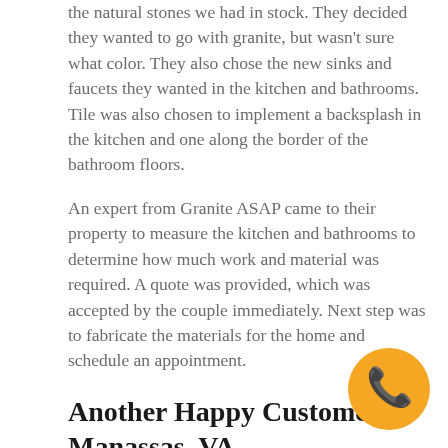the natural stones we had in stock. They decided they wanted to go with granite, but wasn't sure what color. They also chose the new sinks and faucets they wanted in the kitchen and bathrooms. Tile was also chosen to implement a backsplash in the kitchen and one along the border of the bathroom floors.
An expert from Granite ASAP came to their property to measure the kitchen and bathrooms to determine how much work and material was required. A quote was provided, which was accepted by the couple immediately. Next step was to fabricate the materials for the home and schedule an appointment.
Another Happy Customer in Manassas, VA
The customers that hired Granite ASAP for the installation of their remodeling project were happy with our results. We worked speedily to complete the job, so